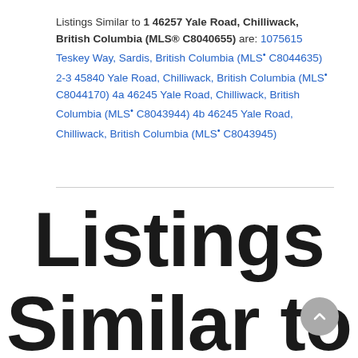Listings Similar to 1 46257 Yale Road, Chilliwack, British Columbia (MLS® C8040655) are: 1075615 Teskey Way, Sardis, British Columbia (MLS® C8044635) 2-3 45840 Yale Road, Chilliwack, British Columbia (MLS® C8044170) 4a 46245 Yale Road, Chilliwack, British Columbia (MLS® C8043944) 4b 46245 Yale Road, Chilliwack, British Columbia (MLS® C8043945)
Listings Similar to 1 46257 Yale